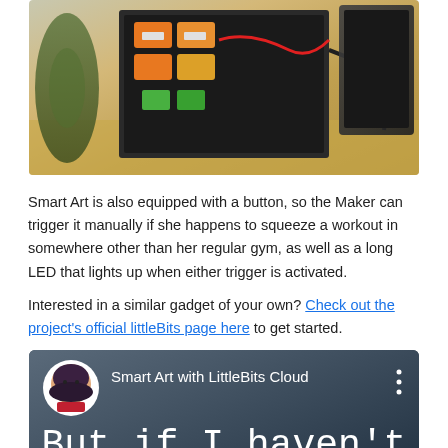[Figure (photo): Photo of the back of a picture frame with colorful LittleBits electronic modules (orange, green, white) attached, with wires, sitting on a wooden surface next to a dark monitor and a glass vase]
Smart Art is also equipped with a button, so the Maker can trigger it manually if she happens to squeeze a workout in somewhere other than her regular gym, as well as a long LED that lights up when either trigger is activated.
Interested in a similar gadget of your own? Check out the project's official littleBits page here to get started.
[Figure (screenshot): Screenshot of a video thumbnail showing 'Smart Art with LittleBits Cloud' with an avatar of a woman in a hijab, and large text reading 'But if I haven't for more than 3...']